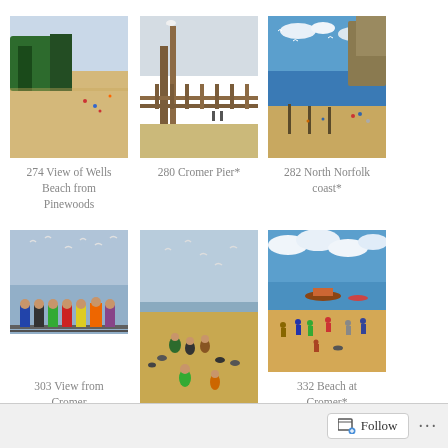[Figure (photo): Beach scene with trees and sandy shore - 274 View of Wells Beach from Pinewoods]
274 View of Wells Beach from Pinewoods
[Figure (photo): Pier with seagull and fence - 280 Cromer Pier*]
280 Cromer Pier*
[Figure (photo): North Norfolk coastline with cliffs and beach - 282 North Norfolk coast*]
282 North Norfolk coast*
[Figure (photo): People standing at railing watching sea with seagulls - 303 View from Cromer]
303 View from Cromer
[Figure (photo): Beach scene with people and dogs at Holkham - 327 Holkham Beach 2*]
327 Holkham Beach 2*
[Figure (photo): Beach at Cromer with boats and people - 332 Beach at Cromer*]
332 Beach at Cromer*